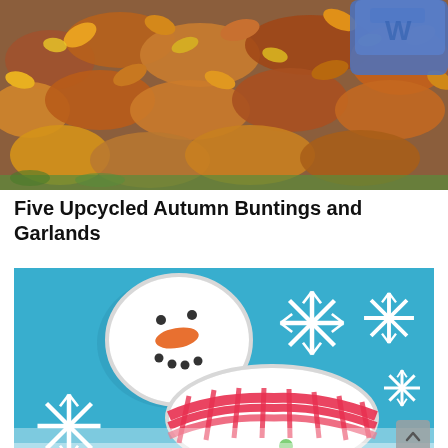[Figure (photo): Pile of autumn/fall leaves in orange, red, and brown colors covering the ground, with part of a blue bag visible in the upper right corner]
Five Upcycled Autumn Buntings and Garlands
[Figure (photo): Two white plastic bottle caps painted to look like snowmen on a bright blue background with white snowflake decorations. The top cap has a snowman face with dot eyes, orange carrot nose, and dot mouth buttons. The bottom cap has a red and white striped scarf drawn on it with a green dot. A scroll-up arrow button appears in the bottom right.]